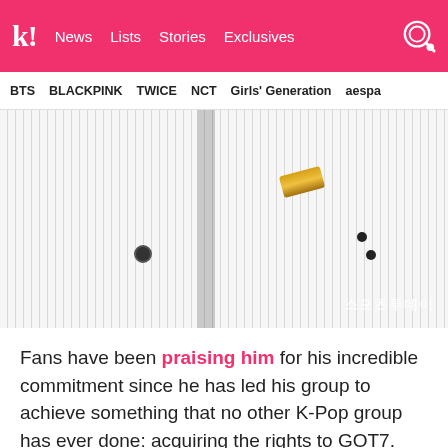k! News  Lists  Stories  Exclusives
BTS  BLACKPINK  TWICE  NCT  Girls' Generation  aespa
[Figure (photo): Close-up photo of a person wearing a white pinstripe suit with gold watch, partially obscured, with Korean watermark text reading 스포츠투데이 in bottom right corner]
Fans have been praising him for his incredible commitment since he has led his group to achieve something that no other K-Pop group has ever done: acquiring the rights to GOT7.